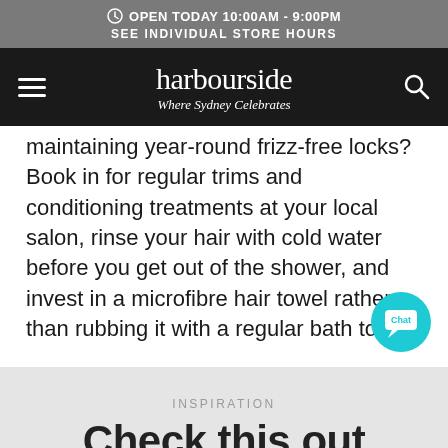OPEN TODAY 10:00AM - 9:00PM
SEE INDIVIDUAL STORE HOURS
harbourside — Where Sydney Celebrates
maintaining year-round frizz-free locks? Book in for regular trims and conditioning treatments at your local salon, rinse your hair with cold water before you get out of the shower, and invest in a microfibre hair towel rather than rubbing it with a regular bath towel.
INSPIRATION
Check this out